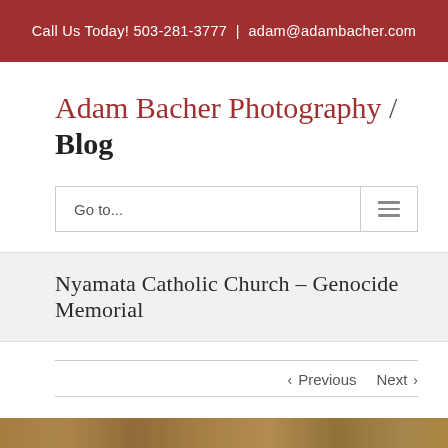Call Us Today! 503-281-3777 | adam@adambacher.com
Adam Bacher Photography / Blog
Go to...
Nyamata Catholic Church – Genocide Memorial
< Previous   Next >
[Figure (photo): Bottom strip of a photograph visible at the very bottom of the page, showing warm earthy tones.]